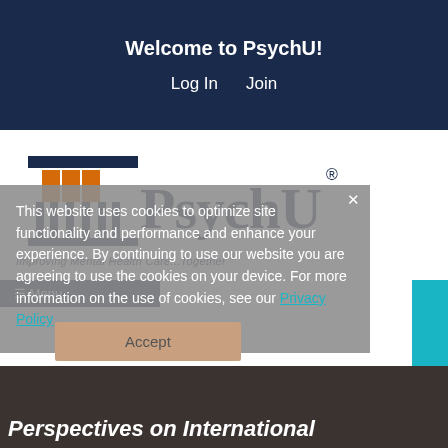Welcome to PsychU!
Log In    Join
[Figure (logo): PsychU logo with orange and navy column/pillar graphic and the text PsychU in large serif font]
Improving Mental Health Care...Together ®
≡ Menu
This website uses cookies to optimize site functionality and performance and enhance your experience. By continuing to use our website you are agreeing to use the cookies on your device. For more information on the use of cookies, see our Privacy Policy
Accept
Perspectives on International